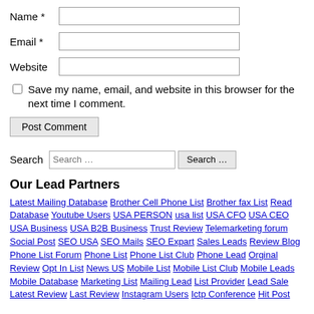Name *
Email *
Website
Save my name, email, and website in this browser for the next time I comment.
Post Comment
Search
Our Lead Partners
Latest Mailing Database Brother Cell Phone List Brother fax List Read Database Youtube Users USA PERSON usa list USA CFO USA CEO USA Business USA B2B Business Trust Review Telemarketing forum Social Post SEO USA SEO Mails SEO Expart Sales Leads Review Blog Phone List Forum Phone List Phone List Club Phone Lead Orginal Review Opt In List News US Mobile List Mobile List Club Mobile Leads Mobile Database Marketing List Mailing Lead List Provider Lead Sale Latest Review Last Review Instagram Users Ictp Conference Hit Post